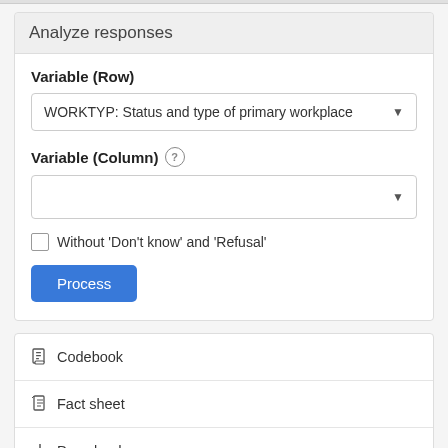Analyze responses
Variable (Row)
WORKTYP: Status and type of primary workplace
Variable (Column)
Without 'Don't know' and 'Refusal'
Process
Codebook
Fact sheet
Downloads